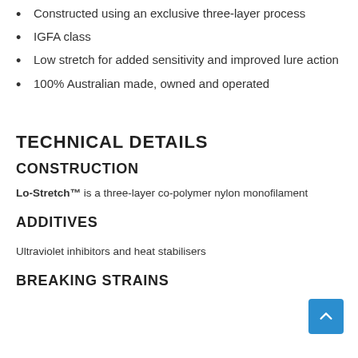Constructed using an exclusive three-layer process
IGFA class
Low stretch for added sensitivity and improved lure action
100% Australian made, owned and operated
TECHNICAL DETAILS
CONSTRUCTION
Lo-Stretch™ is a three-layer co-polymer nylon monofilament
ADDITIVES
Ultraviolet inhibitors and heat stabilisers
BREAKING STRAINS